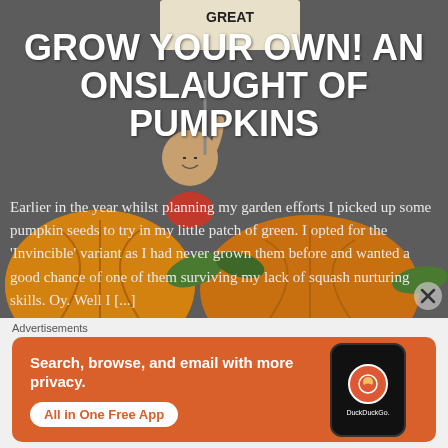[Figure (illustration): Cartoon illustration of Charlie Brown character holding a 'Great Pumpkin' sign, with large orange pumpkins in the foreground, on a dark grey background]
GROW YOUR OWN! AN ONSLAUGHT OF PUMPKINS
Earlier in the year whilst planning my garden efforts I picked up some pumpkin seeds to try in my little patch of green. I opted for the 'Invincible' variant as I had never grown them before and wanted a good chance of one of them surviving my lack of squash nurturing skills. Oy. Well I [...]
Advertisements
[Figure (screenshot): DuckDuckGo advertisement banner with orange background. Left side text: 'Search, browse, and email with more privacy. All in One Free App'. Right side shows a smartphone with DuckDuckGo logo and 'DuckDuckGo.' text below.]